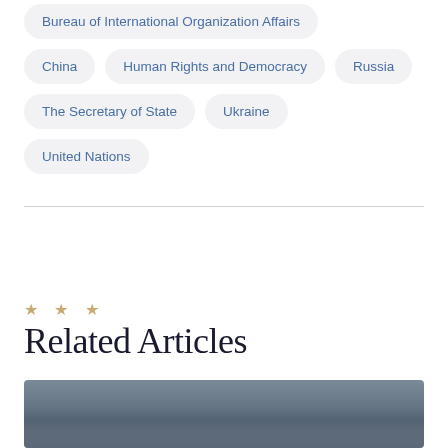Bureau of International Organization Affairs
China
Human Rights and Democracy
Russia
The Secretary of State
Ukraine
United Nations
Related Articles
[Figure (photo): Photograph of a person, partially visible, with American flags in the background, in grayscale/muted tones.]